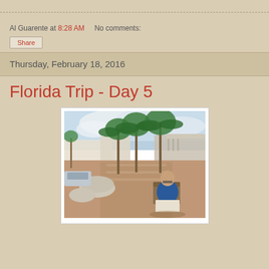Al Guarente at 8:28 AM   No comments:
Share
Thursday, February 18, 2016
Florida Trip - Day 5
[Figure (photo): Man sitting outdoors in a chair reading, surrounded by palm trees and a plaza/shopping area in Florida. Overcast sky with clouds.]